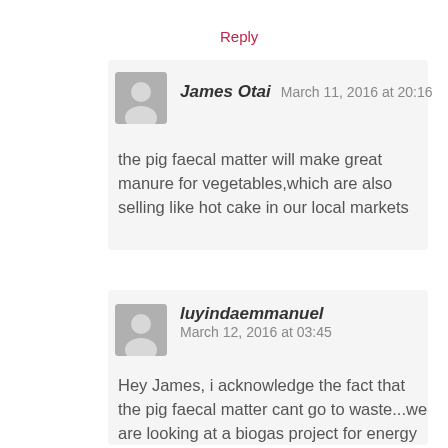Reply
James Otai   March 11, 2016 at 20:16
the pig faecal matter will make great manure for vegetables,which are also selling like hot cake in our local markets
luyindaemmanuel   March 12, 2016 at 03:45
Hey James, i acknowledge the fact that the pig faecal matter cant go to waste...we are looking at a biogas project for energy at the farm...i'm